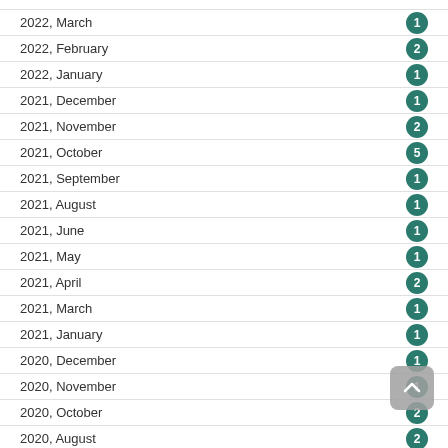2022, March — 1
2022, February — 2
2022, January — 1
2021, December — 1
2021, November — 2
2021, October — 5
2021, September — 1
2021, August — 1
2021, June — 1
2021, May — 1
2021, April — 2
2021, March — 1
2021, January — 1
2020, December — 1
2020, November — 1
2020, October — 2
2020, August — 2